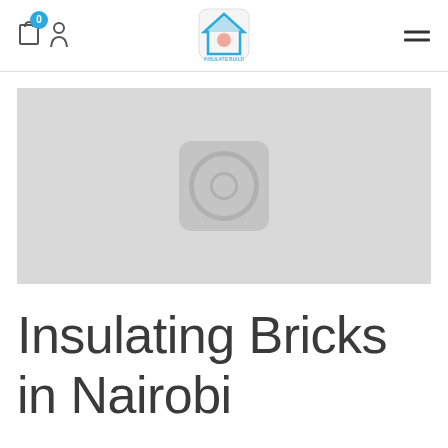Navigation bar with cart icon (0), logo, and hamburger menu
[Figure (photo): Product image placeholder — light grey rectangle with a rounded square placeholder icon in the center containing concentric circles]
Insulating Bricks in Nairobi